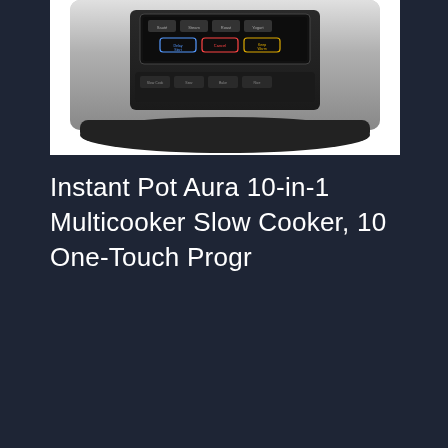[Figure (photo): Partial top view of an Instant Pot Aura multicooker, stainless steel body with a black control panel showing buttons including Delay Start, Cancel, and Keep Warm, on a white background.]
Instant Pot Aura 10-in-1 Multicooker Slow Cooker, 10 One-Touch Progr